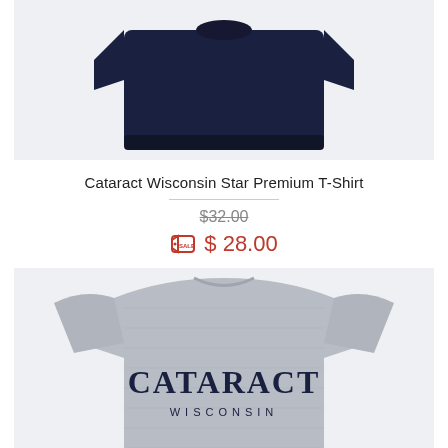[Figure (photo): Dark navy t-shirt folded flat, viewed from above, on light gray background]
Cataract Wisconsin Star Premium T-Shirt
$32.00 (strikethrough original price)
$ 28.00 (sale price with sale tag icon)
[Figure (photo): Gray heather t-shirt with 'CATARACT WISCONSIN' collegiate arched text printed in dark navy, displayed on light gray background]